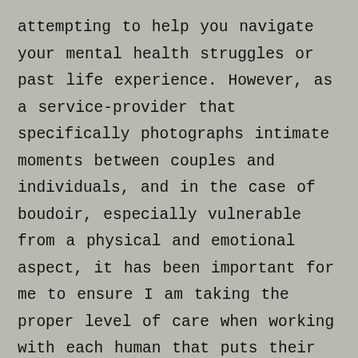attempting to help you navigate your mental health struggles or past life experience. However, as a service-provider that specifically photographs intimate moments between couples and individuals, and in the case of boudoir, especially vulnerable from a physical and emotional aspect, it has been important for me to ensure I am taking the proper level of care when working with each human that puts their trust in me. I do this by purposefully and actively using trauma-informed care